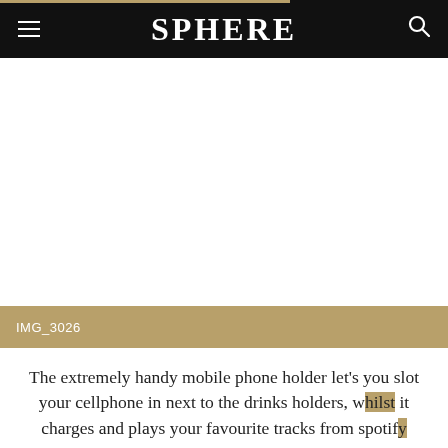SPHERE
[Figure (photo): White blank image area below the header, representing a photo placeholder (IMG_3026)]
IMG_3026
The extremely handy mobile phone holder let's you slot your cellphone in next to the drinks holders, whilst it charges and plays your favourite tracks from spotify